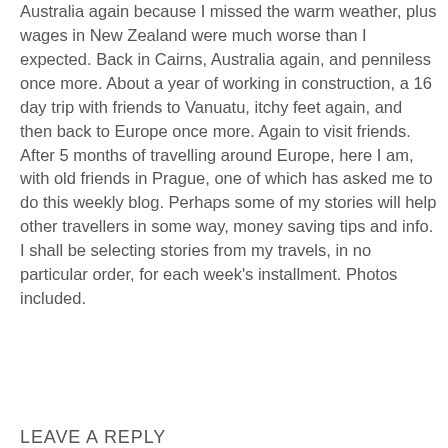Australia again because I missed the warm weather, plus wages in New Zealand were much worse than I expected. Back in Cairns, Australia again, and penniless once more. About a year of working in construction, a 16 day trip with friends to Vanuatu, itchy feet again, and then back to Europe once more. Again to visit friends. After 5 months of travelling around Europe, here I am, with old friends in Prague, one of which has asked me to do this weekly blog. Perhaps some of my stories will help other travellers in some way, money saving tips and info. I shall be selecting stories from my travels, in no particular order, for each week's installment. Photos included.
LEAVE A REPLY